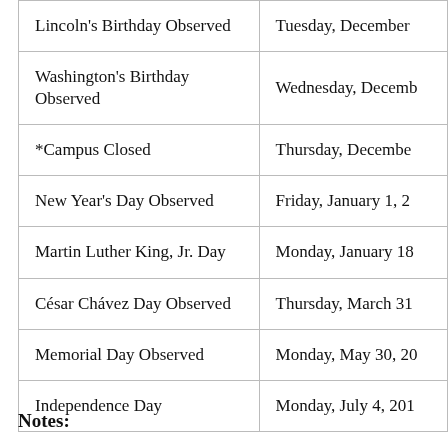| Holiday | Date |
| --- | --- |
| Lincoln's Birthday Observed | Tuesday, December |
| Washington's Birthday Observed | Wednesday, Decemb |
| *Campus Closed | Thursday, December |
| New Year's Day Observed | Friday, January 1, 2 |
| Martin Luther King, Jr. Day | Monday, January 18 |
| César Chávez Day Observed | Thursday, March 31 |
| Memorial Day Observed | Monday, May 30, 20 |
| Independence Day | Monday, July 4, 201 |
Notes: